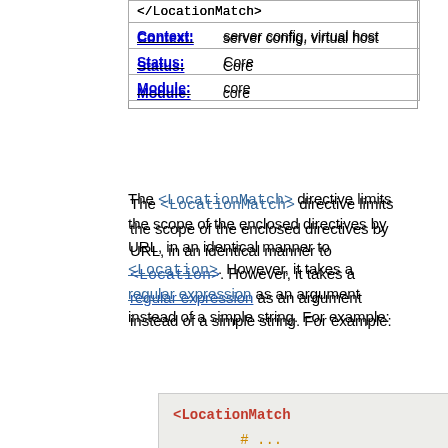| </LocationMatch> |  |
| Context: | server config, virtual host |
| Status: | Core |
| Module: | core |
The <LocationMatch> directive limits the scope of the enclosed directives by URL, in an identical manner to <Location>. However, it takes a regular expression as an argument instead of a simple string. For example:
[Figure (screenshot): Code block showing: <LocationMatch "/extra/data">\n    # ...\n</LocationMatch>]
would match URLs that contained the substring /extra/data or